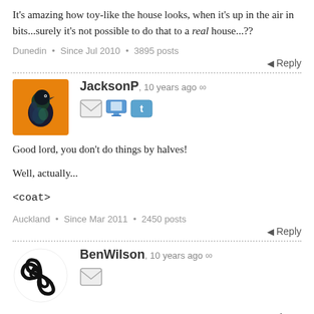It's amazing how toy-like the house looks, when it's up in the air in bits...surely it's not possible to do that to a real house...??
Dunedin • Since Jul 2010 • 3895 posts
Reply
JacksonP, 10 years ago ∞
Good lord, you don't do things by halves!

Well, actually...

<coat>
Auckland • Since Mar 2011 • 2450 posts
Reply
BenWilson, 10 years ago ∞
Good luck! Congratulations on getting to this point. Well done for all the work! Not finished yet,